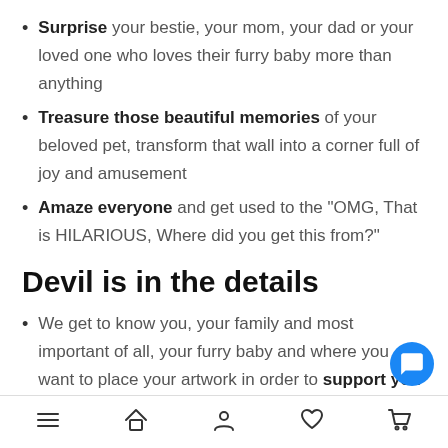Surprise your bestie, your mom, your dad or your loved one who loves their furry baby more than anything
Treasure those beautiful memories of your beloved pet, transform that wall into a corner full of joy and amusement
Amaze everyone and get used to the "OMG, That is HILARIOUS, Where did you get this from?"
Devil is in the details
We get to know you, your family and most important of all, your furry baby and where you want to place your artwork in order to support you through or…
Navigation bar with menu, home, profile, favorites, cart icons